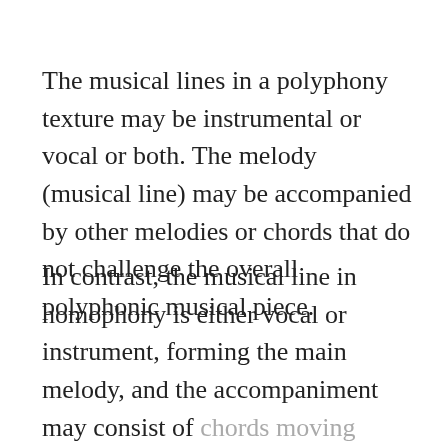The musical lines in a polyphony texture may be instrumental or vocal or both. The melody (musical line) may be accompanied by other melodies or chords that do not challenge the overall polyphonic musical piece.
In contrast, the musical line in homophony is either vocal or instrument, forming the main melody, and the accompaniment may consist of chords moving together with the melody.